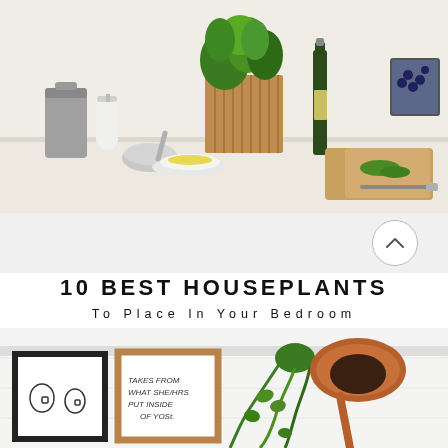[Figure (photo): Kitchen counter top with wooden herb planter containing green plants, wine bottle, cutting board with herbs, white bowl with yellow content, silver bowl, paper towel roll, and stainless steel trash can. White background.]
10 BEST HOUSEPLANTS
To Place In Your Bedroom
[Figure (photo): Bedroom shelf with a black-framed wall print showing coffee cups, a wooden-framed print with handwritten text, a copper/rose gold desk lamp, and a trailing green plant. White tiled or paneled wall background.]